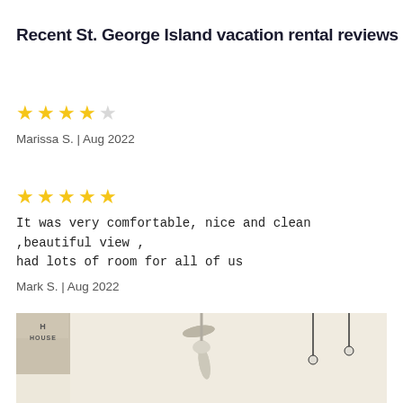Recent St. George Island vacation rental reviews
★★★★☆
Marissa S. | Aug 2022
★★★★★
It was very comfortable, nice and clean ,beautiful view , had lots of room for all of us
Mark S. | Aug 2022
[Figure (photo): Interior ceiling photo of a beach house, showing a ceiling fan and pendant lights, with a wooden sign reading 'BEACH HOUSE' visible on the left.]